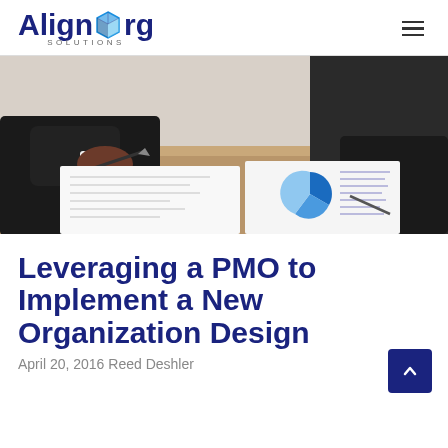AlignOrg Solutions
[Figure (photo): Two business professionals at a table, one writing on paper, another reviewing a document with charts; business meeting setting]
Leveraging a PMO to Implement a New Organization Design
April 20, 2016 Reed Deshler